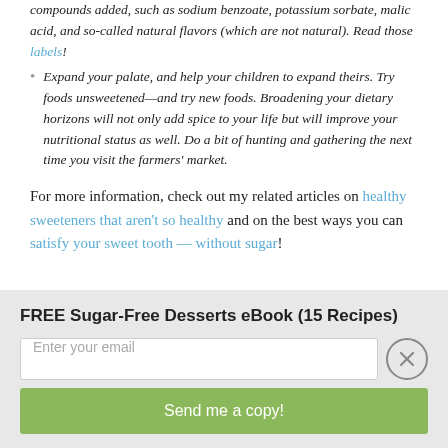compounds added, such as sodium benzoate, potassium sorbate, malic acid, and so-called natural flavors (which are not natural). Read those labels!
Expand your palate, and help your children to expand theirs. Try foods unsweetened—and try new foods. Broadening your dietary horizons will not only add spice to your life but will improve your nutritional status as well. Do a bit of hunting and gathering the next time you visit the farmers' market.
For more information, check out my related articles on healthy sweeteners that aren't so healthy and on the best ways you can satisfy your sweet tooth — without sugar!
FREE Sugar-Free Desserts eBook (15 Recipes)
Enter your email
Send me a copy!